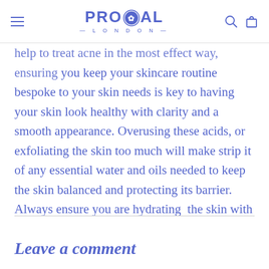PROCOAL LONDON
help to treat acne in the most effect way, ensuring you keep your skincare routine bespoke to your skin needs is key to having your skin look healthy with clarity and a smooth appearance. Overusing these acids, or exfoliating the skin too much will make strip it of any essential water and oils needed to keep the skin balanced and protecting its barrier. Always ensure you are hydrating  the skin with serum packed with hyaluronic acid, vitamin C and ensuring you always apply a daily SPF of factor 30or above to prevent any sun damage.
Leave a comment